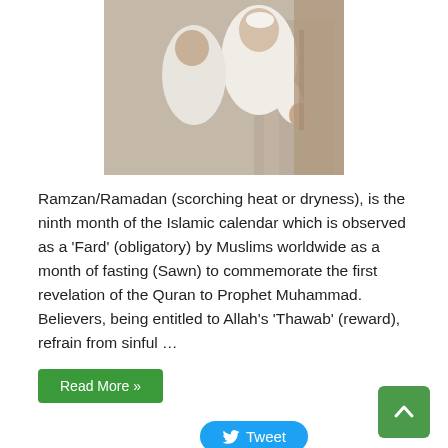[Figure (photo): Two men in white clothing, appearing to be at a religious site, one leaning toward a wall.]
Ramzan/Ramadan (scorching heat or dryness), is the ninth month of the Islamic calendar which is observed as a ‘Fard’ (obligatory) by Muslims worldwide as a month of fasting (Sawn) to commemorate the first revelation of the Quran to Prophet Muhammad. Believers, being entitled to Allah’s ‘Thawab’ (reward), refrain from sinful …
Read More »
Tweet
Share
Save
Verses from Surah Al-Kahf (23-29)
May 15, 2018   Quran   0